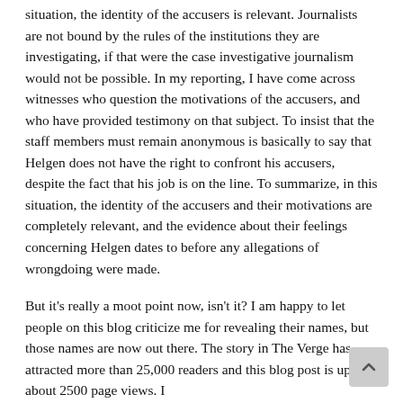situation, the identity of the accusers is relevant. Journalists are not bound by the rules of the institutions they are investigating, if that were the case investigative journalism would not be possible. In my reporting, I have come across witnesses who question the motivations of the accusers, and who have provided testimony on that subject. To insist that the staff members must remain anonymous is basically to say that Helgen does not have the right to confront his accusers, despite the fact that his job is on the line. To summarize, in this situation, the identity of the accusers and their motivations are completely relevant, and the evidence about their feelings concerning Helgen dates to before any allegations of wrongdoing were made.
But it's really a moot point now, isn't it? I am happy to let people on this blog criticize me for revealing their names, but those names are now out there. The story in The Verge has attracted more than 25,000 readers and this blog post is up to about 2500 page views. I